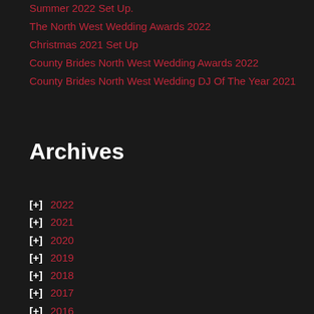Summer 2022 Set Up.
The North West Wedding Awards 2022
Christmas 2021 Set Up
County Brides North West Wedding Awards 2022
County Brides North West Wedding DJ Of The Year 2021
Archives
[+] 2022
[+] 2021
[+] 2020
[+] 2019
[+] 2018
[+] 2017
[+] 2016
[+] 2015
[+] 2014
[+] 2013
[-] 2012
December